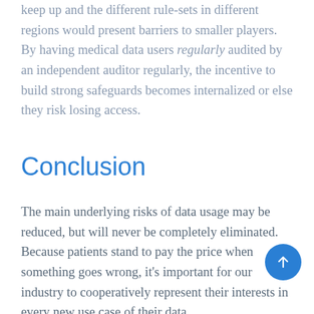keep up and the different rule-sets in different regions would present barriers to smaller players. By having medical data users regularly audited by an independent auditor regularly, the incentive to build strong safeguards becomes internalized or else they risk losing access.
Conclusion
The main underlying risks of data usage may be reduced, but will never be completely eliminated. Because patients stand to pay the price when something goes wrong, it's important for our industry to cooperatively represent their interests in every new use case of their data